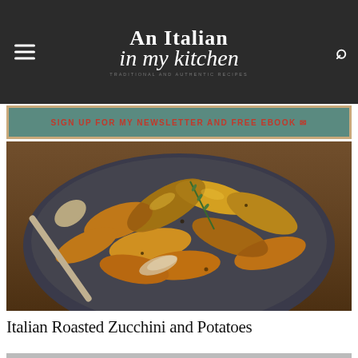An Italian in my kitchen
SIGN UP FOR MY NEWSLETTER AND FREE EBOOK ✉
[Figure (photo): A cast iron skillet filled with golden roasted zucchini and potato wedges with a large spoon, garnished with rosemary and onions, on a wooden surface.]
Italian Roasted Zucchini and Potatoes
[Figure (photo): Partial view of a second food photo at the bottom of the page.]